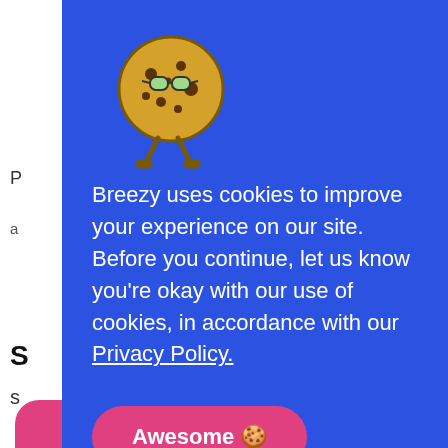[Figure (illustration): Cookie character mascot with glasses and legs, drawn in cartoon style on blue background]
Breezy uses cookies to improve your experience on our site. Before you continue, let us know you're okay with our use of cookies, in accordance with our Privacy Policy.
Awesome 🍪
ployers
ting
ess today.
Start My Free Trial